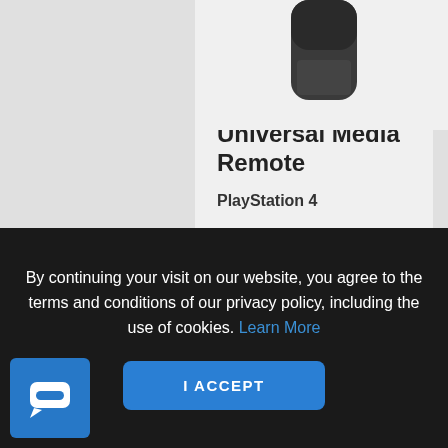[Figure (photo): Partial product card showing a PlayStation 4 Universal Media Remote device image (bottom portion of a dark remote control) on a light gray background]
Official Universal Media Remote
PlayStation 4
By continuing your visit on our website, you agree to the terms and conditions of our privacy policy, including the use of cookies. Learn More
I ACCEPT
[Figure (logo): Blue square chat/messaging app icon with a white speech bubble containing a rounded rectangle and a small pointer at bottom left]